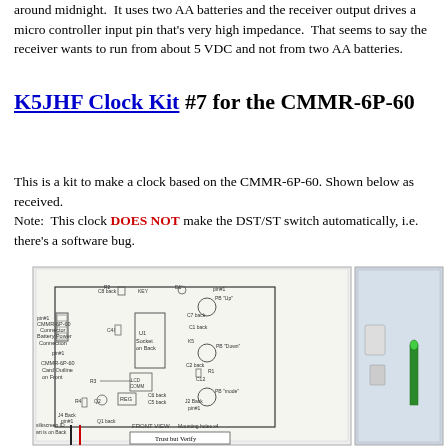around midnight. It uses two AA batteries and the receiver output drives a micro controller input pin that's very high impedance. That seems to say the receiver wants to run from about 5 VDC and not from two AA batteries.
K5JHF Clock Kit #7 for the CMMR-6P-60
This is a kit to make a clock based on the CMMR-6P-60. Shown below as received.
Note: This clock DOES NOT make the DST/ST switch automatically, i.e. there's a software bug.
[Figure (schematic): PCB schematic/layout diagram showing front view of the CMMR-6P-60 clock kit board with labeled components including connectors, battery power connection, LCD COMM, REG, buttons PB Up/Down/mode, and 'Trust but Verify' text at bottom. Next to it is a photo of a component bag.]